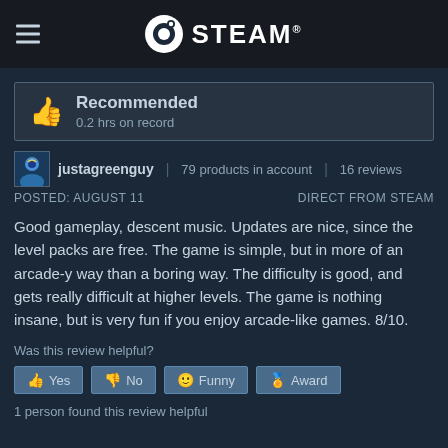STEAM
Recommended
0.2 hrs on record
justagreenguy | 79 products in account | 16 reviews
POSTED: AUGUST 11    DIRECT FROM STEAM
Good gameplay, descent music. Updates are nice, since the level packs are free. The game is simple, but in more of an arcade-y way than a boring way. The difficulty is good, and gets really difficult at higher levels. The game is nothing insane, but is very fun if you enjoy arcade-like games. 8/10.
Was this review helpful?
Yes  No  Funny  Award
1 person found this review helpful